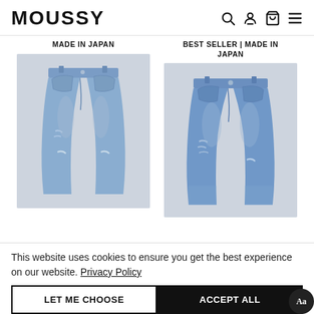MOUSSY
MADE IN JAPAN
BEST SELLER | MADE IN JAPAN
[Figure (photo): Light blue distressed denim jeans, front view on grey background, Made in Japan product]
[Figure (photo): Light blue distressed denim jeans, front view on grey background, Best Seller Made in Japan product]
This website uses cookies to ensure you get the best experience on our website. Privacy Policy
LET ME CHOOSE
ACCEPT ALL